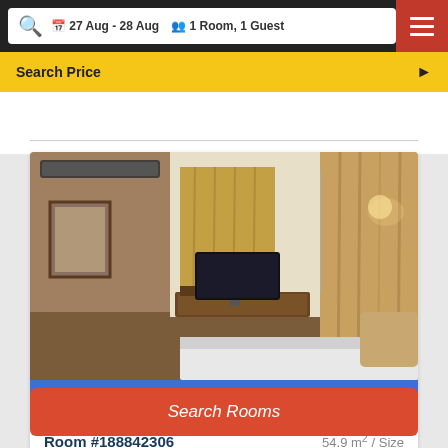27 Aug - 28 Aug  1 Room, 1 Guest
Search Price
[Figure (photo): Hotel room interior with bed, TV on dresser, golden curtains, wall-mounted AC unit, and artwork on wall]
VIEW GALLERY PHOTOS
Room #188842306  54.9 m² / Size
Search Rooms